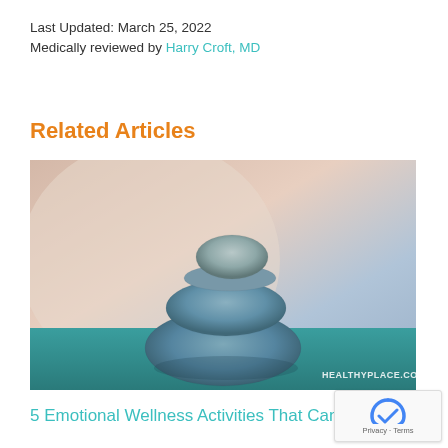Last Updated: March 25, 2022
Medically reviewed by Harry Croft, MD
Related Articles
[Figure (photo): Stack of three balanced stones/pebbles on a teal surface with a soft blurred background, watermark reads HEALTHYPLACE.COM]
5 Emotional Wellness Activities That Can